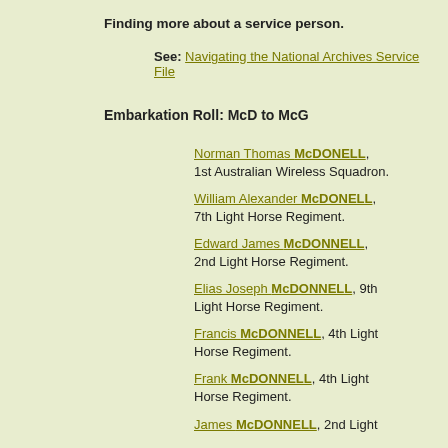Finding more about a service person.
See: Navigating the National Archives Service File
Embarkation Roll: McD to McG
Norman Thomas McDONELL, 1st Australian Wireless Squadron.
William Alexander McDONELL, 7th Light Horse Regiment.
Edward James McDONNELL, 2nd Light Horse Regiment.
Elias Joseph McDONNELL, 9th Light Horse Regiment.
Francis McDONNELL, 4th Light Horse Regiment.
Frank McDONNELL, 4th Light Horse Regiment.
James McDONNELL, 2nd Light